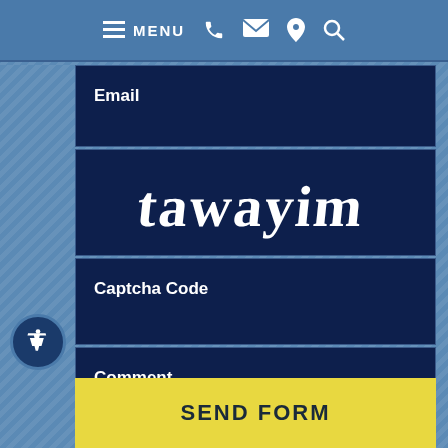MENU
Email
[Figure (other): CAPTCHA image showing distorted text 'tawayim' in gothic/blackletter style on dark blue background]
Captcha Code
Comment
SEND FORM